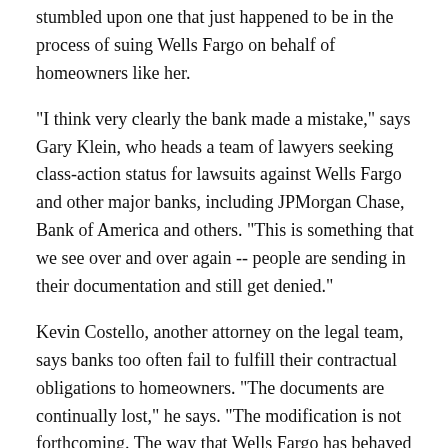stumbled upon one that just happened to be in the process of suing Wells Fargo on behalf of homeowners like her.
"I think very clearly the bank made a mistake," says Gary Klein, who heads a team of lawyers seeking class-action status for lawsuits against Wells Fargo and other major banks, including JPMorgan Chase, Bank of America and others. "This is something that we see over and over again -- people are sending in their documentation and still get denied."
Kevin Costello, another attorney on the legal team, says banks too often fail to fulfill their contractual obligations to homeowners. "The documents are continually lost," he says. "The modification is not forthcoming. The way that Wells Fargo has behaved constitutes an unfair and deceptive trade practice."